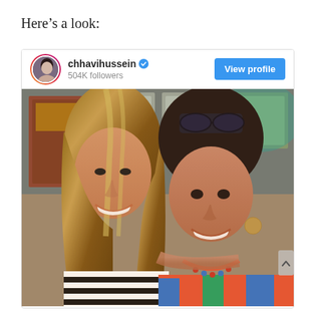Here’s a look:
[Figure (screenshot): Instagram profile card for chhavihussein with 504K followers and a View profile button, showing a selfie photo of two smiling women in a restaurant setting, one with long brown highlighted hair wearing a black and white striped top, and one with dark hair and sunglasses on her head wearing a colorful top.]